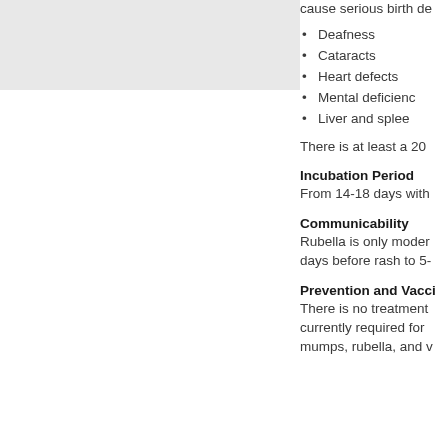[Figure (photo): Partial image of a medical/health-related photograph, mostly obscured, light gray background visible]
cause serious birth de
Deafness
Cataracts
Heart defects
Mental deficienc
Liver and splee
There is at least a 20
Incubation Period
From 14-18 days with
Communicability
Rubella is only moder days before rash to 5-
Prevention and Vacci
There is no treatment currently required for mumps, rubella, and v